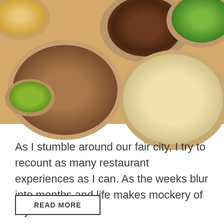[Figure (photo): Overhead view of Mexican food spread on a wooden table: bowls of rice/grain (top left), braised dark meat (top center), salad with greens and lime (top right), large bowl of shredded carnitas (center left), stack of flour tortillas on a plate (right), and small bowl of green salsa (bottom left).]
As I stumble around our fair city, I try to recount as many restaurant experiences as I can. As the weeks blur into months and life makes mockery of my …
READ MORE